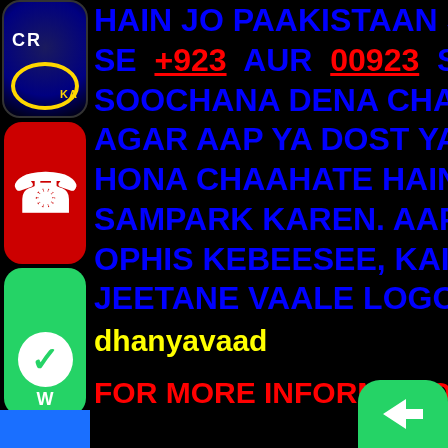[Figure (screenshot): Mobile screenshot with black background showing partial KBC (Kaun Banega Crorepati) logo, a red phone icon, and green WhatsApp icon on the left strip. Main content shows blue bold Urdu-romanized text about Pakistan contact numbers +923 and 00923, with yellow 'dhanyavaad' and red 'FOR MORE INFORMATION WHAT' text. Bottom shows partial WhatsApp and share icons.]
HAIN JO PAAKISTAAN SE PRAA...
SE +923 AUR 00923 SE SHU...
SOOCHANA DENA CHAAHATE H...
AGAR AAP YA DOST YA KAREEB...
HONA CHAAHATE HAIN, KRPAY...
SAMPARK KAREN. AAPAKO VE...
OPHIS KEBEESEE, KAISH D...
JEETANE VAALE LOGON KEE S...
dhanyavaad
FOR MORE INFORMATION WHAT...